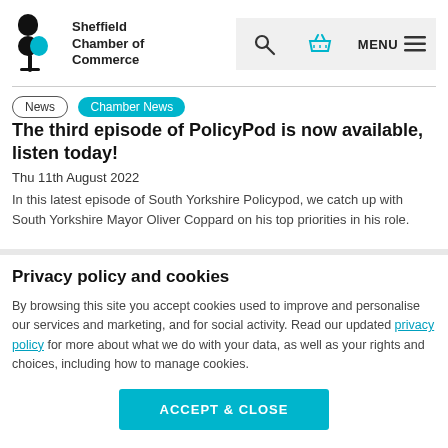Sheffield Chamber of Commerce
News
Chamber News
The third episode of PolicyPod is now available, listen today!
Thu 11th August 2022
In this latest episode of South Yorkshire Policypod, we catch up with South Yorkshire Mayor Oliver Coppard on his top priorities in his role.
Privacy policy and cookies
By browsing this site you accept cookies used to improve and personalise our services and marketing, and for social activity. Read our updated privacy policy for more about what we do with your data, as well as your rights and choices, including how to manage cookies.
ACCEPT & CLOSE